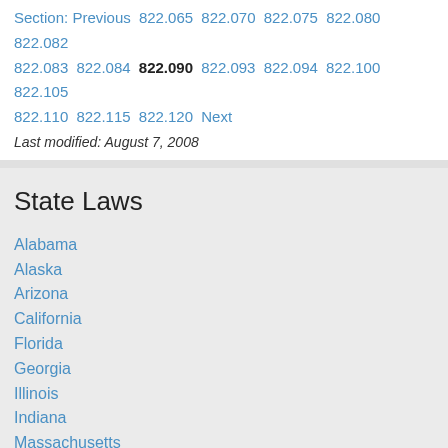Section: Previous 822.065 822.070 822.075 822.080 822.082 822.083 822.084 822.090 822.093 822.094 822.100 822.105 822.110 822.115 822.120 Next
Last modified: August 7, 2008
State Laws
Alabama
Alaska
Arizona
California
Florida
Georgia
Illinois
Indiana
Massachusetts
Michigan
Nevada
New Jersey
New York
North Carolina
Ohio
Oregon